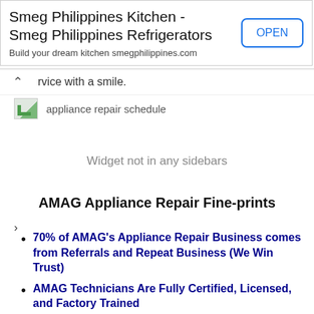[Figure (other): Advertisement banner for Smeg Philippines Kitchen - Smeg Philippines Refrigerators with an OPEN button]
rvice with a smile.
[Figure (other): Broken image placeholder with alt text: appliance repair schedule]
Widget not in any sidebars
AMAG Appliance Repair Fine-prints
70% of AMAG's Appliance Repair Business comes from Referrals and Repeat Business (We Win Trust)
AMAG Technicians Are Fully Certified, Licensed, and Factory Trained